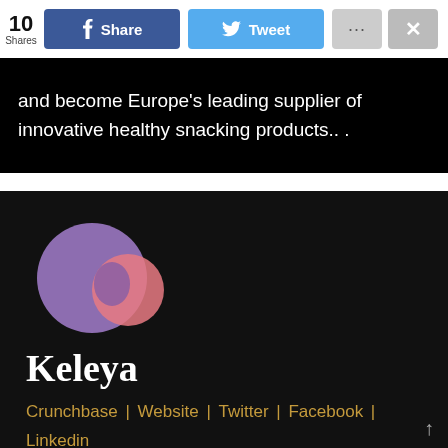10 Shares | Share | Tweet | ... | X
and become Europe's leading supplier of innovative healthy snacking products.. .
[Figure (logo): Keleya logo: two overlapping circles, a large purple circle and a smaller pink/salmon circle, on a black background]
Keleya
Crunchbase | Website | Twitter | Facebook | Linkedin